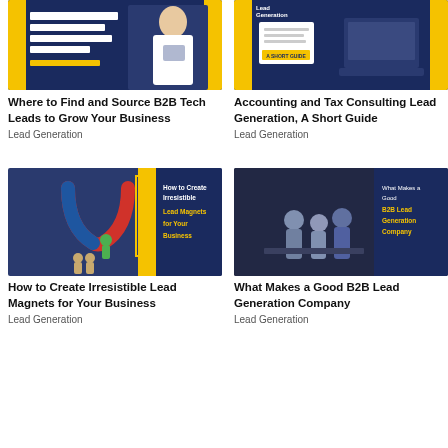[Figure (illustration): Book cover: Where to Find and Source B2B Tech Leads to Grow Your Business. Dark blue and yellow background with woman holding tablet.]
[Figure (illustration): Book cover: Accounting and Tax Consulting Lead Generation, A Short Guide. Dark blue and yellow background with laptop and documents.]
Where to Find and Source B2B Tech Leads to Grow Your Business
Lead Generation
Accounting and Tax Consulting Lead Generation, A Short Guide
Lead Generation
[Figure (illustration): Book cover: How to Create Irresistible Lead Magnets for Your Business. Dark blue with magnet illustration and yellow accent.]
[Figure (illustration): Book cover: What Makes a Good B2B Lead Generation Company. Dark background with business people.]
How to Create Irresistible Lead Magnets for Your Business
Lead Generation
What Makes a Good B2B Lead Generation Company
Lead Generation